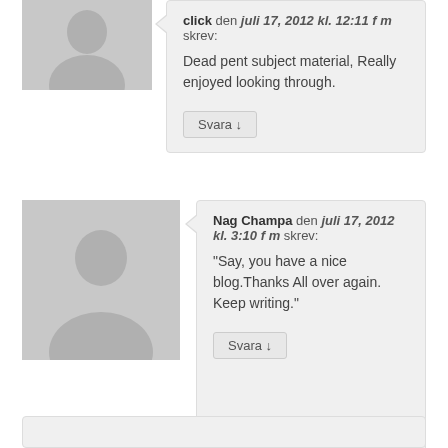[Figure (illustration): Default avatar silhouette for user 'click']
click den juli 17, 2012 kl. 12:11 f m skrev:
Dead pent subject material, Really enjoyed looking through.
Svara ↓
[Figure (illustration): Default avatar silhouette for user 'Nag Champa']
Nag Champa den juli 17, 2012 kl. 3:10 f m skrev:
"Say, you have a nice blog.Thanks All over again. Keep writing."
Svara ↓